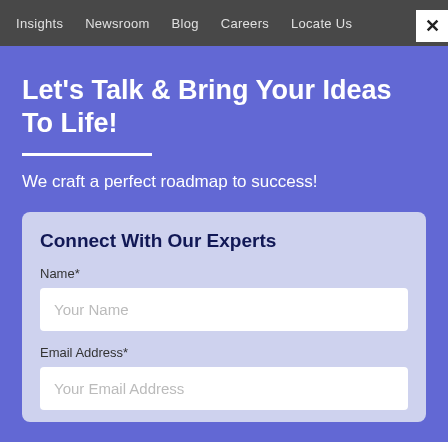Insights  Newsroom  Blog  Careers  Locate Us
Let's Talk & Bring Your Ideas To Life!
We craft a perfect roadmap to success!
Connect With Our Experts
Name*
Your Name
Email Address*
Your Email Address